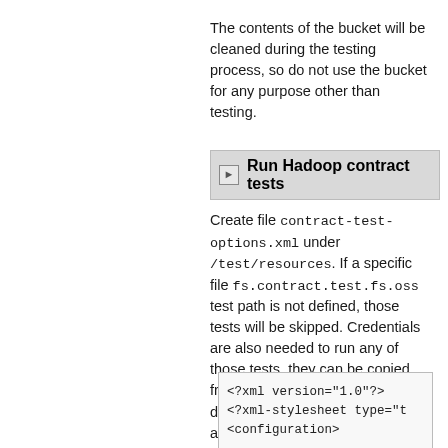The contents of the bucket will be cleaned during the testing process, so do not use the bucket for any purpose other than testing.
Run Hadoop contract tests
Create file contract-test-options.xml under /test/resources. If a specific file fs.contract.test.fs.oss test path is not defined, those tests will be skipped. Credentials are also needed to run any of those tests, they can be copied from auth-keys.xml or through direct XInclude inclusion. Here is an example of contract-test-options.xml:
<?xml version="1.0"?>
<?xml-stylesheet type="t
<configuration>

<include xmlns="http://w
href="auth-keys.xml"/>